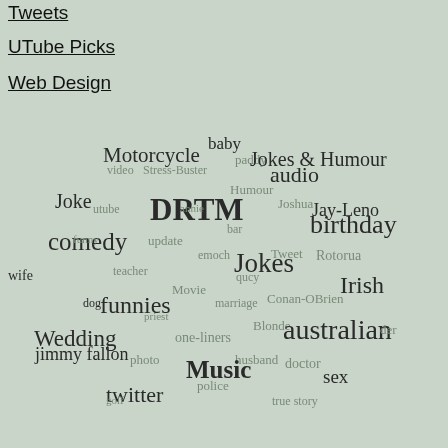Tweets
UTube Picks
Web Design
[Figure (infographic): Word cloud with tags related to humor, comedy, and Australian content including words like baby, Motorcycle, Jokes & Humour, audio, DRTM, birthday, comedy, funnies, australian, Music, twitter, Wedding, jimmy fallon, etc. in various sizes and shades on a sage green background.]